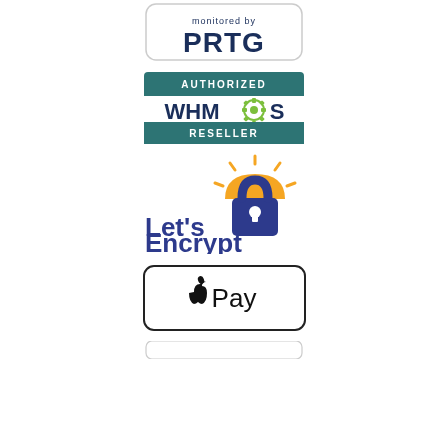[Figure (logo): PRTG 'monitored by' badge with white rounded rectangle and dark blue PRTG text]
[Figure (logo): WHMCS Authorized Reseller badge with teal/dark header bars and WHMCS logo with gear]
[Figure (logo): Let's Encrypt logo with orange sun/lock icon and dark blue text]
[Figure (logo): Apple Pay logo with black Apple logo and Pay text in a rounded rectangle border]
[Figure (logo): Partially visible badge at bottom of page]